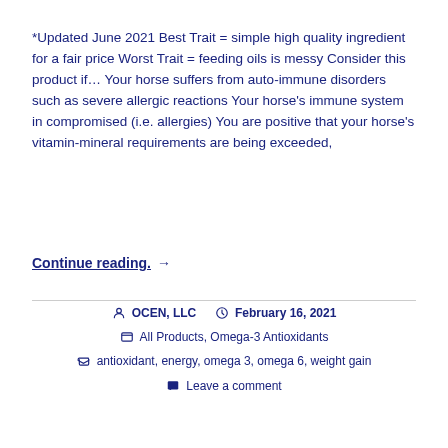*Updated June 2021 Best Trait = simple high quality ingredient for a fair price Worst Trait = feeding oils is messy Consider this product if... Your horse suffers from auto-immune disorders such as severe allergic reactions Your horse's immune system in compromised (i.e. allergies) You are positive that your horse's vitamin-mineral requirements are being exceeded,
Continue reading. →
OCEN, LLC  February 16, 2021  All Products, Omega-3 Antioxidants  antioxidant, energy, omega 3, omega 6, weight gain  Leave a comment